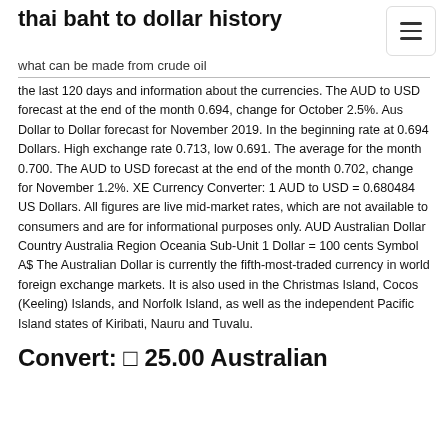thai baht to dollar history
what can be made from crude oil
the last 120 days and information about the currencies. The AUD to USD forecast at the end of the month 0.694, change for October 2.5%. Aus Dollar to Dollar forecast for November 2019. In the beginning rate at 0.694 Dollars. High exchange rate 0.713, low 0.691. The average for the month 0.700. The AUD to USD forecast at the end of the month 0.702, change for November 1.2%. XE Currency Converter: 1 AUD to USD = 0.680484 US Dollars. All figures are live mid-market rates, which are not available to consumers and are for informational purposes only. AUD Australian Dollar Country Australia Region Oceania Sub-Unit 1 Dollar = 100 cents Symbol A$ The Australian Dollar is currently the fifth-most-traded currency in world foreign exchange markets. It is also used in the Christmas Island, Cocos (Keeling) Islands, and Norfolk Island, as well as the independent Pacific Island states of Kiribati, Nauru and Tuvalu.
Convert: □ 25.00 Australian